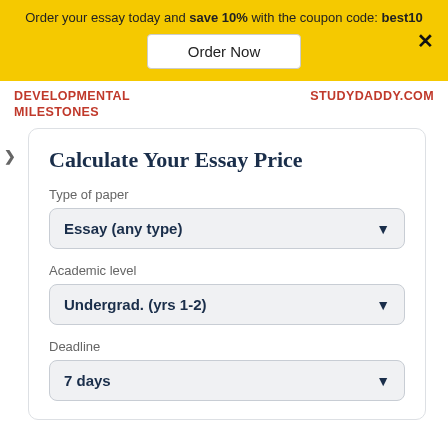Order your essay today and save 10% with the coupon code: best10
Order Now
DEVELOPMENTAL MILESTONES | STUDYDADDY.COM
Calculate Your Essay Price
Type of paper
Essay (any type)
Academic level
Undergrad. (yrs 1-2)
Deadline
7 days